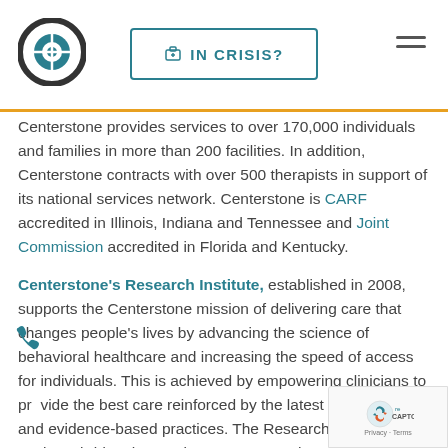Centerstone logo | IN CRISIS? button | hamburger menu
Centerstone provides services to over 170,000 individuals and families in more than 200 facilities. In addition, Centerstone contracts with over 500 therapists in support of its national services network. Centerstone is CARF accredited in Illinois, Indiana and Tennessee and Joint Commission accredited in Florida and Kentucky.
Centerstone's Research Institute, established in 2008, supports the Centerstone mission of delivering care that changes people's lives by advancing the science of behavioral healthcare and increasing the speed of access for individuals. This is achieved by empowering clinicians to provide the best care reinforced by the latest advancements and evidence-based practices. The Research Institute works to bridge the gap between research and service. Partnering with clinicians and other research professionals in academia and industry, the Research